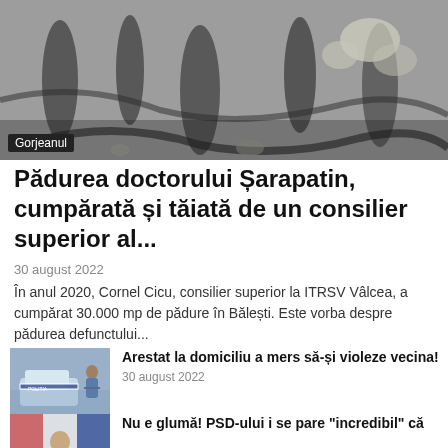[Figure (photo): Forest scene with fallen trees and leaves, black and white/muted tones]
Gorjeanul
Pădurea doctorului Șarapatin, cumpărată și tăiată de un consilier superior al...
30 august 2022
În anul 2020, Cornel Cicu, consilier superior la ITRSV Vâlcea, a cumpărat 30.000 mp de pădure în Bălești. Este vorba despre pădurea defunctului...
[Figure (photo): Police officer with arrested person near a police car]
Arestat la domiciliu a mers să-și violeze vecina!
30 august 2022
[Figure (photo): Person at podium or speaking, political context]
Nu e glumă! PSD-ului i se pare "incredibil" că